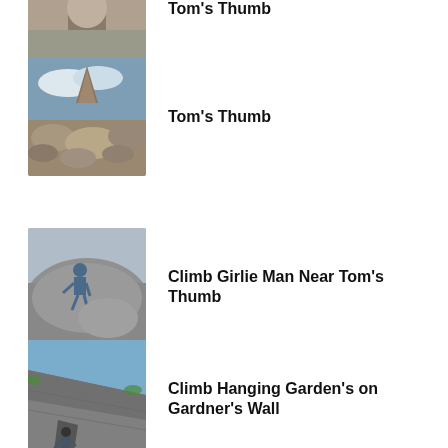[Figure (photo): Partial view of a rock climbing scene at Tom's Thumb, cropped at top]
Tom's Thumb
[Figure (photo): Rock formation of Tom's Thumb with boulders in foreground under cloudy sky]
Tom's Thumb
[Figure (photo): Climber bouldering on a large rock near Tom's Thumb]
Climb Girlie Man Near Tom's Thumb
[Figure (photo): Climber on a large slab rock at Gardner's Wall]
Climb Hanging Garden's on Gardner's Wall